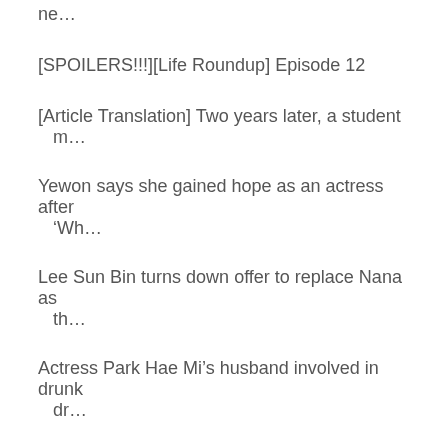ne…
[SPOILERS!!!][Life Roundup] Episode 12
[Article Translation] Two years later, a student m…
Yewon says she gained hope as an actress after 'Wh…
Lee Sun Bin turns down offer to replace Nana as th…
Actress Park Hae Mi's husband involved in drunk dr…
[REQUEST] Jennie's heart fluttering fan service
[SPOILERS!!!][Life Roundup] Episode 11
Uee says her wish is to introduce herself as 'actr…
[Weekend Variety Roundup] Omniscient